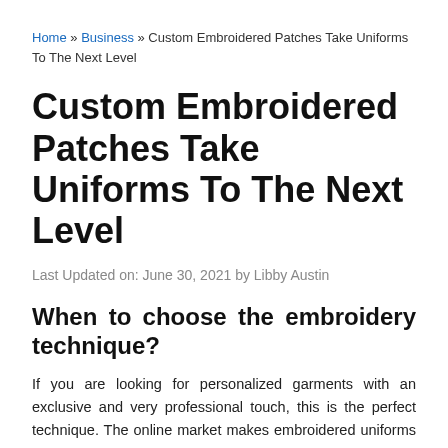Home » Business » Custom Embroidered Patches Take Uniforms To The Next Level
Custom Embroidered Patches Take Uniforms To The Next Level
Last Updated on: June 30, 2021 by Libby Austin
When to choose the embroidery technique?
If you are looking for personalized garments with an exclusive and very professional touch, this is the perfect technique. The online market makes embroidered uniforms for companies